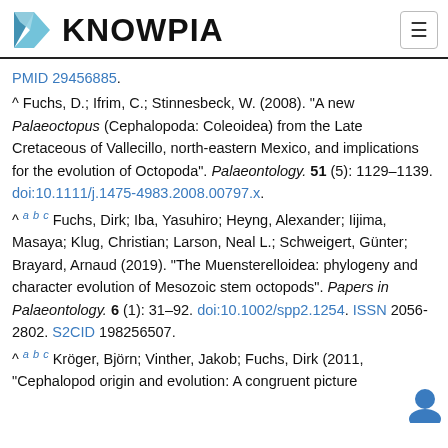KNOWPIA
PMID 29456885.
^ Fuchs, D.; Ifrim, C.; Stinnesbeck, W. (2008). "A new Palaeoctopus (Cephalopoda: Coleoidea) from the Late Cretaceous of Vallecillo, north-eastern Mexico, and implications for the evolution of Octopoda". Palaeontology. 51 (5): 1129–1139. doi:10.1111/j.1475-4983.2008.00797.x.
^ a b c Fuchs, Dirk; Iba, Yasuhiro; Heyng, Alexander; Iijima, Masaya; Klug, Christian; Larson, Neal L.; Schweigert, Günter; Brayard, Arnaud (2019). "The Muensterelloidea: phylogeny and character evolution of Mesozoic stem octopods". Papers in Palaeontology. 6 (1): 31–92. doi:10.1002/spp2.1254. ISSN 2056-2802. S2CID 198256507.
^ a b c Kröger, Björn; Vinther, Jakob; Fuchs, Dirk (2011, "Cephalopod origin and evolution: A congruent picture